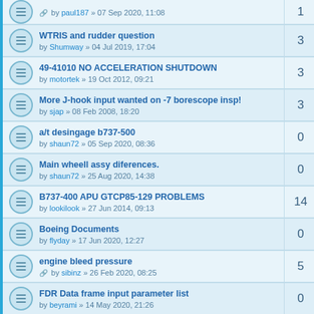by paul187 » 07 Sep 2020, 11:08 | replies: 1
WTRIS and rudder question | by Shumway » 04 Jul 2019, 17:04 | replies: 3
49-41010 NO ACCELERATION SHUTDOWN | by motortek » 19 Oct 2012, 09:21 | replies: 3
More J-hook input wanted on -7 borescope insp! | by sjap » 08 Feb 2008, 18:20 | replies: 3
a/t desingage b737-500 | by shaun72 » 05 Sep 2020, 08:36 | replies: 0
Main wheell assy diferences. | by shaun72 » 25 Aug 2020, 14:38 | replies: 0
B737-400 APU GTCP85-129 PROBLEMS | by lookilook » 27 Jun 2014, 09:13 | replies: 14
Boeing Documents | by flyday » 17 Jun 2020, 12:27 | replies: 0
engine bleed pressure | by sibinz » 26 Feb 2020, 08:25 | replies: 5
FDR Data frame input parameter list | by beyrami » 14 May 2020, 21:26 | replies: 0
B737-300 MEC | by Jimmy138 » 14 May 2020, 17:15 | replies: 0
Sliding window frame rubpad p/n